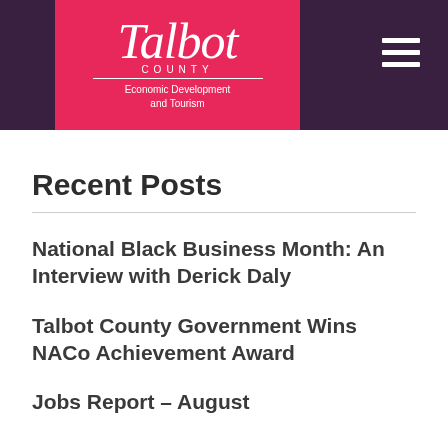[Figure (logo): Talbot County Economic Development and Tourism logo on pink/red background, with hamburger menu icon on dark purple header bar]
Recent Posts
National Black Business Month: An Interview with Derick Daly
Talbot County Government Wins NACo Achievement Award
Jobs Report – August